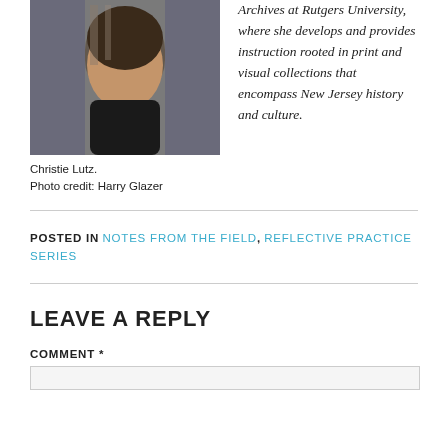[Figure (photo): Portrait photo of Christie Lutz, a woman with dark curly hair wearing a black top, standing in front of bookshelves.]
Archives at Rutgers University, where she develops and provides instruction rooted in print and visual collections that encompass New Jersey history and culture.
Christie Lutz.
Photo credit: Harry Glazer
POSTED IN NOTES FROM THE FIELD, REFLECTIVE PRACTICE SERIES
LEAVE A REPLY
COMMENT *